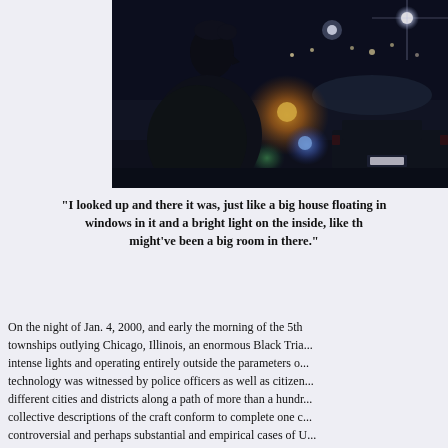[Figure (photo): Night photograph of a person in profile (dark silhouette) looking at a nighttime scene with street lights, lens flares visible in orange and blue, and a vehicle in the background]
"I looked up and there it was, just like a big house floating in... windows in it and a bright light on the inside, like th... might've been a big room in there."
On the night of Jan. 4, 2000, and early the morning of the 5th... townships outlying Chicago, Illinois, an enormous Black Tria... intense lights and operating entirely outside the parameters o... technology was witnessed by police officers as well as citizen... different cities and districts along a path of more than a hundr... collective descriptions of the craft conform to complete one c... controversial and perhaps substantial and empirical cases of U... phenomenon in history.